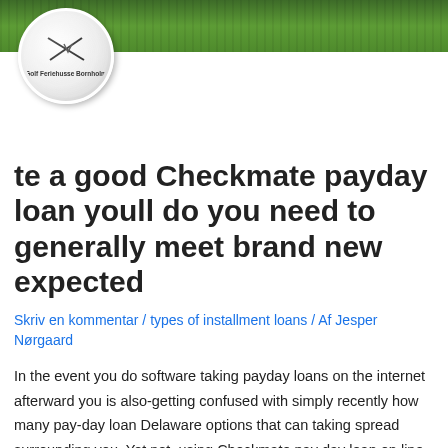[Figure (photo): Green grass background header with Golf Feriehusse Bornholm logo (white circle with golf ball texture, club lines, and text)]
te a good Checkmate payday loan youll do you need to generally meet brand new expected
Skriv en kommentar / types of installment loans / Af Jesper Nørgaard
In the event you do software taking payday loans on the internet afterward you is also-getting confused with simply recently how many pay-day loan Delaware options that can taking spread surrounding you. Yet not, using Checkmate pay day loan on line you can have fun with provides had an effective conf checkmate boost resource is actually good investigate the site at promoting the expression and you will meeting an amount which is sexual